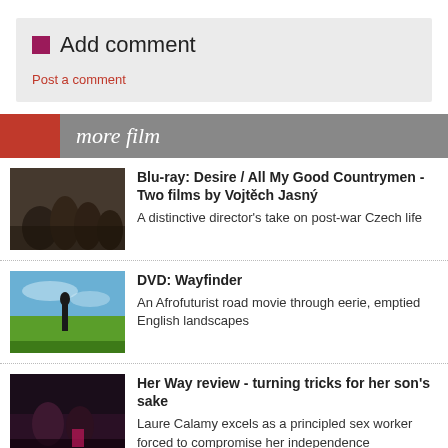Add comment
Post a comment
more film
Blu-ray: Desire / All My Good Countrymen - Two films by Vojtěch Jasný
A distinctive director's take on post-war Czech life
DVD: Wayfinder
An Afrofuturist road movie through eerie, emptied English landscapes
Her Way review - turning tricks for her son's sake
Laure Calamy excels as a principled sex worker forced to compromise her independence
Queen of Glory review - carving an identity between two